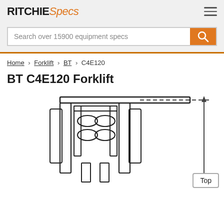RITCHIE Specs
Search over 15900 equipment specs
Home > Forklift > BT > C4E120
BT C4E120 Forklift
[Figure (engineering-diagram): Front-view engineering diagram of BT C4E120 Forklift showing mast structure with overhead guard, forks, and a vertical dimension arrow on the right side with a horizontal dashed reference line at the top.]